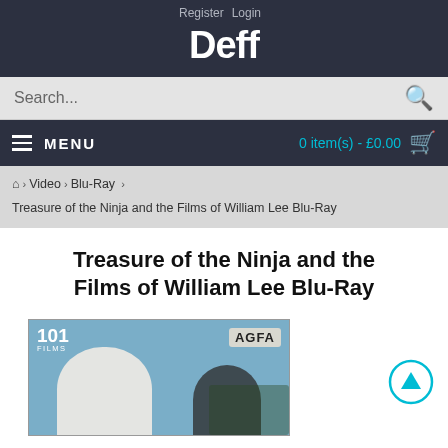Register  Login
Deff
Search...
MENU   0 item(s) - £0.00
Home > Video > Blu-Ray > Treasure of the Ninja and the Films of William Lee Blu-Ray
Treasure of the Ninja and the Films of William Lee Blu-Ray
[Figure (photo): Blu-Ray product cover showing two figures, with '101 Films' logo top-left and 'AGFA' logo top-right, on a blue-tinted background.]